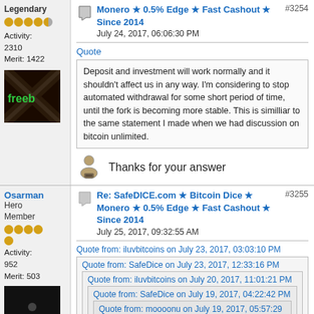Legendary
Activity: 2310
Merit: 1422
[Figure (screenshot): Forum post avatar with dark background and green 'freeb' text]
Monero ★ 0.5% Edge ★ Fast Cashout ★ Since 2014
#3254
July 24, 2017, 06:06:30 PM
Quote
Deposit and investment will work normally and it shouldn't affect us in any way. I'm considering to stop automated withdrawal for some short period of time, until the fork is becoming more stable. This is similliar to the same statement I made when we had discussion on bitcoin unlimited.
[Figure (illustration): Forum user icon (message/profile icon)]
Thanks for your answer
Osarman
Hero Member
Activity: 952
Merit: 503
[Figure (screenshot): Dark avatar image for Osarman]
Re: SafeDICE.com ★ Bitcoin Dice ★ Monero ★ 0.5% Edge ★ Fast Cashout ★ Since 2014
#3255
July 25, 2017, 09:32:55 AM
Quote from: iluvbitcoins on July 23, 2017, 03:03:10 PM
Quote from: SafeDice on July 23, 2017, 12:33:16 PM
Quote from: iluvbitcoins on July 20, 2017, 11:01:21 PM
Quote from: SafeDice on July 19, 2017, 04:22:42 PM
Quote from: moooonu on July 19, 2017, 05:57:29 AM